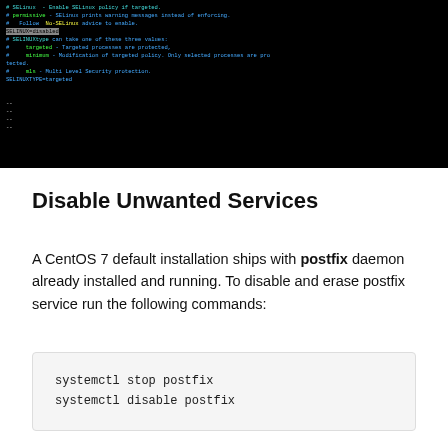[Figure (screenshot): Terminal screenshot showing SELinux configuration file content with SELINUX=disabled and SELINUXTYPE=targeted lines visible, along with commented lines explaining options]
Disable Unwanted Services
A CentOS 7 default installation ships with postfix daemon already installed and running. To disable and erase postfix service run the following commands:
systemctl stop postfix
systemctl disable postfix